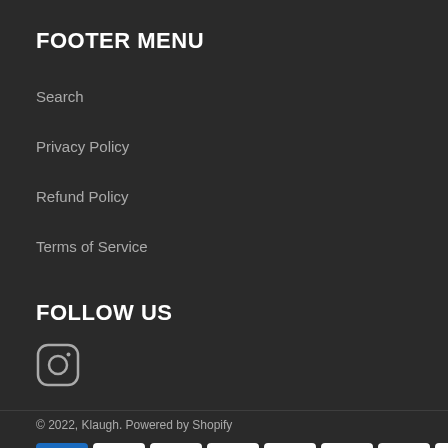FOOTER MENU
Search
Privacy Policy
Refund Policy
Terms of Service
FOLLOW US
[Figure (logo): Instagram icon - rounded square with circle and dot]
© 2022, Klaugh. Powered by Shopify
[Figure (other): Payment icons: AMEX, Apple Pay, Diners Club, Discover, Meta Pay, Google Pay, Mastercard, PayPal, Shop Pay, Venmo, Visa]